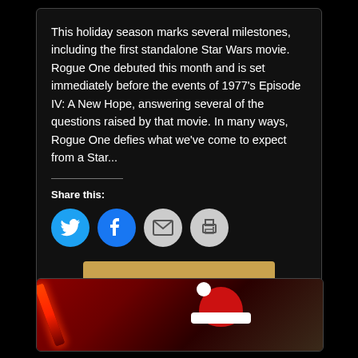This holiday season marks several milestones, including the first standalone Star Wars movie. Rogue One debuted this month and is set immediately before the events of 1977's Episode IV: A New Hope, answering several of the questions raised by that movie. In many ways, Rogue One defies what we've come to expect from a Star...
Share this:
[Figure (infographic): Share buttons: Twitter (blue circle), Facebook (blue circle), Email (grey circle), Print (grey circle)]
Continue reading
[Figure (photo): Dark image showing a red lightsaber glow on the left and a figure wearing a Santa hat on the right, against a dark background]